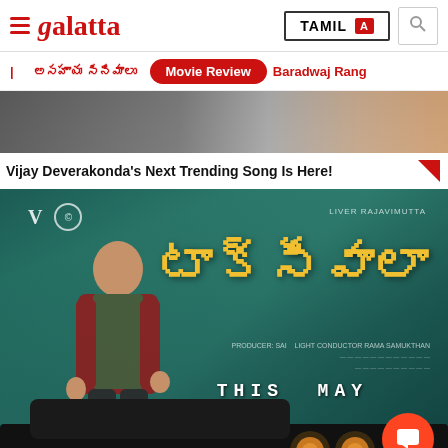Galatta — TAMIL — search bar
Navigation: Movie Review | Baradwaj Rang...
[Figure (photo): Partial cropped image of a person/scene at the top]
Vijay Deverakonda's Next Trending Song Is Here!
[Figure (photo): Movie poster for Telugu film 'Taxiwala' featuring Vijay Deverakonda leaning on a car, with text 'THIS MAY'. Orange chat button overlay at bottom right.]